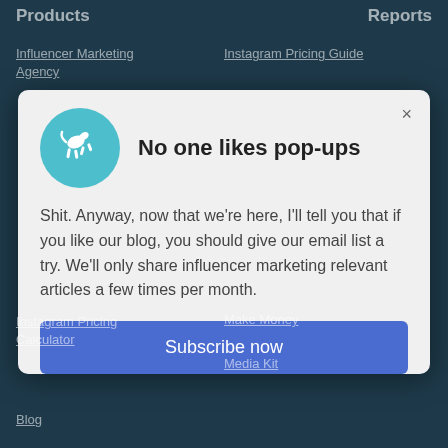Products   Reports
Influencer Marketing Agency
Instagram Pricing Guide
[Figure (screenshot): Modal popup dialog with teal circular logo icon of a jumping animal, title 'No one likes pop-ups', body text, and a blue Subscribe now button]
Instagram Pricing Calculator
Make Money
Media Kit
Blog